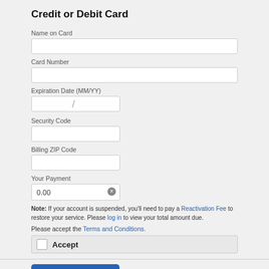Credit or Debit Card
Name on Card
Card Number
Expiration Date (MM/YY)
Security Code
Billing ZIP Code
Your Payment
0.00
Note: If your account is suspended, you'll need to pay a Reactivation Fee to restore your service. Please log in to view your total amount due.
Please accept the Terms and Conditions.
Accept
Review Payment
Cancel